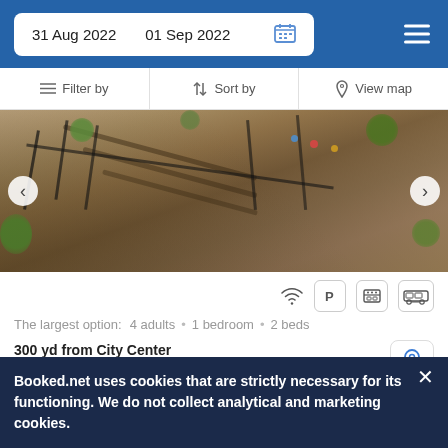31 Aug 2022   01 Sep 2022
Filter by   Sort by   View map
[Figure (photo): Aerial courtyard view of a stone building with wrought iron railings, plants, and decorative items, in Uçhisar, Cappadocia]
The largest option:  4 adults  •  1 bedroom  •  2 beds
300 yd from City Center
300 yd from City Center
Located just 800 feet from Uc Hisar Castle in Uçhisar, the venue offers airport shuttle bus service, laundry service and...
Booked.net uses cookies that are strictly necessary for its functioning. We do not collect analytical and marketing cookies.